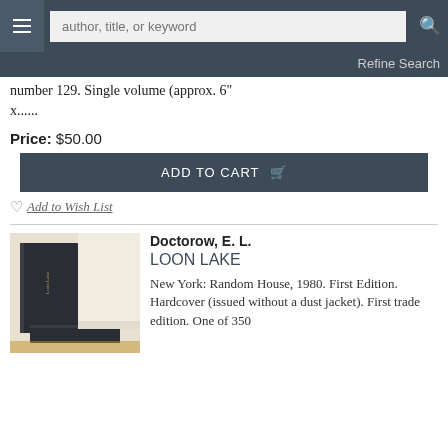author, title, or keyword | Refine Search
number 129. Single volume (approx. 6" x......
Price: $50.00
ADD TO CART
Add to Wish List
Doctorow, E. L.
LOON LAKE
New York: Random House, 1980. First Edition. Hardcover (issued without a dust jacket). First trade edition. One of 350